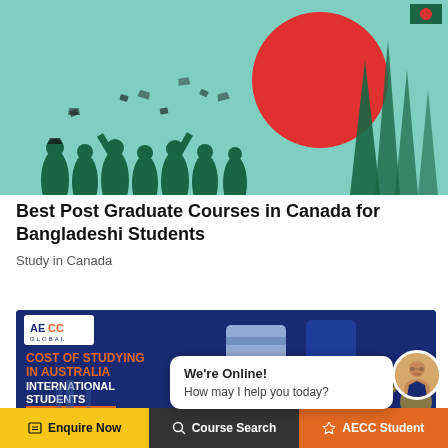[Figure (illustration): Banner illustration for 'Best Post Graduate Courses in Canada for Bangladeshi Students' showing graduating students silhouettes in green on teal background with a large red circle and architectural tower structure, Bangladeshi flag in top-right corner]
Best Post Graduate Courses in Canada for Bangladeshi Students
Study in Canada
[Figure (illustration): AECC Global advertisement banner: dark blue background with AECC Global logo top-left, orange text reading 'COST OF STUDYING IN AUSTRALIA INTERNATIONAL STUDENTS', with a chat widget overlay showing 'We're Online! How may I help you today?' with an animated avatar]
Enquire Now   Course Search   AECC Student